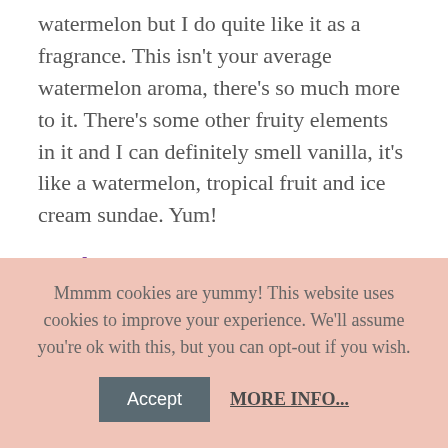watermelon but I do quite like it as a fragrance. This isn't your average watermelon aroma, there's so much more to it. There's some other fruity elements in it and I can definitely smell vanilla, it's like a watermelon, tropical fruit and ice cream sundae. Yum!
Sarah – I could smell this as soon as I first opened the box. Once melting I could smell banana!? I don't know if there was any banana in this or my nose was deceiving me but something banana'ery was bringing out the watermelon scent more.
Thai Lime & Mango
Mmmm cookies are yummy! This website uses cookies to improve your experience. We'll assume you're ok with this, but you can opt-out if you wish. Accept MORE INFO...